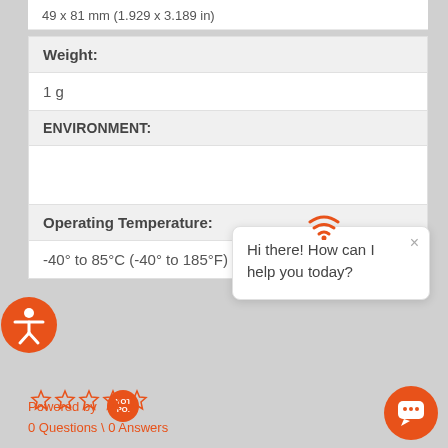49 x 81 mm (1.929 x 3.189 in)
| Weight: |
| 1 g |
| ENVIRONMENT: |
|  |
| Operating Temperature: |
| -40° to 85°C (-40° to 185°F) |
[Figure (logo): Accessibility icon - orange circle with white person figure]
[Figure (other): WiFi signal icon in orange]
Hi there! How can I help you today?
Powered by YOTPO
[Figure (other): Five empty star rating icons in orange]
0 Questions \ 0 Answers
[Figure (other): Chat bubble button in orange circle]